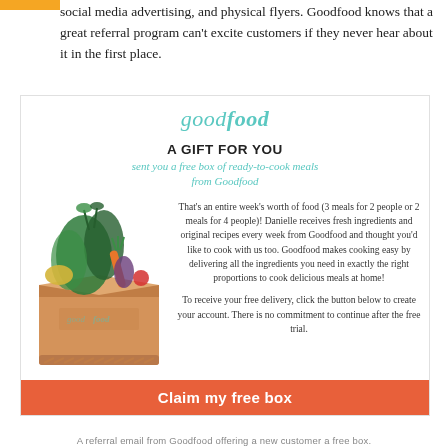social media advertising, and physical flyers. Goodfood knows that a great referral program can't excite customers if they never hear about it in the first place.
[Figure (screenshot): Goodfood referral email showing logo, 'A GIFT FOR YOU' heading, a free box offer, a food delivery box image with vegetables, body text about the referral offer, and an orange 'Claim my free box' button.]
A referral email from Goodfood offering a new customer a free box.